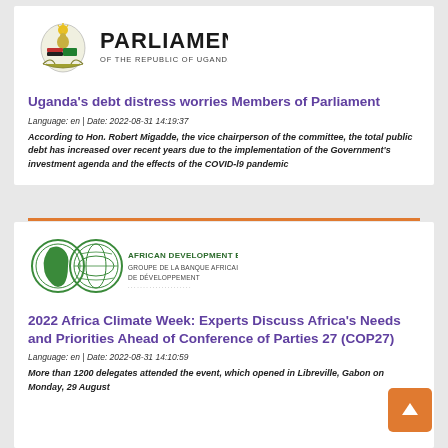[Figure (logo): Parliament of the Republic of Uganda logo with coat of arms]
Uganda's debt distress worries Members of Parliament
Language: en | Date: 2022-08-31 14:19:37
According to Hon. Robert Migadde, the vice chairperson of the committee, the total public debt has increased over recent years due to the implementation of the Government's investment agenda and the effects of the COVID-l9 pandemic
[Figure (logo): African Development Bank Group logo]
2022 Africa Climate Week: Experts Discuss Africa's Needs and Priorities Ahead of Conference of Parties 27 (COP27)
Language: en | Date: 2022-08-31 14:10:59
More than 1200 delegates attended the event, which opened in Libreville, Gabon on Monday, 29 August